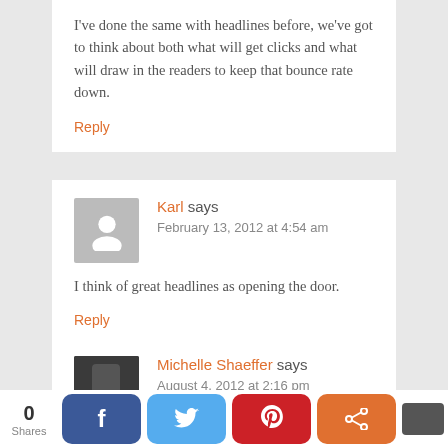I've done the same with headlines before, we've got to think about both what will get clicks and what will draw in the readers to keep that bounce rate down.
Reply
Karl says
February 13, 2012 at 4:54 am
I think of great headlines as opening the door.
Reply
Michelle Shaeffer says
August 4, 2012 at 2:16 pm
0 Shares